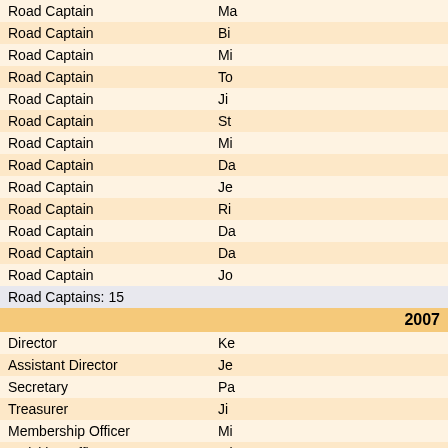| Role | Name |
| --- | --- |
| Road Captain | Ma... |
| Road Captain | Bi... |
| Road Captain | Mi... |
| Road Captain | To... |
| Road Captain | Ji... |
| Road Captain | St... |
| Road Captain | Mi... |
| Road Captain | Da... |
| Road Captain | Je... |
| Road Captain | Ri... |
| Road Captain | Da... |
| Road Captain | Da... |
| Road Captain | Jo... |
| Road Captains: 15 |  |
| 2007 |  |
| Director | Ke... |
| Assistant Director | Je... |
| Secretary | Pa... |
| Treasurer | Ji... |
| Membership Officer | Mi... |
| Activities Officer | Mi... |
| Editor | Mi... |
| Ladies of Harley Officer | Ra... |
| Historian | Ri... |
| Photographer | Bi... |